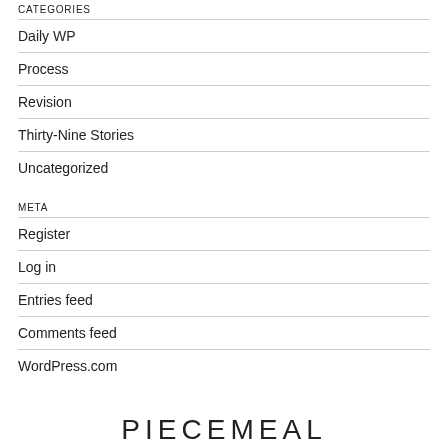CATEGORIES
Daily WP
Process
Revision
Thirty-Nine Stories
Uncategorized
META
Register
Log in
Entries feed
Comments feed
WordPress.com
PIECEMEAL